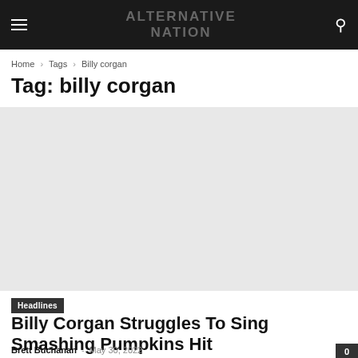Alternative Nation
Home › Tags › Billy corgan
Tag: billy corgan
[Figure (photo): Article thumbnail image placeholder (light gray)]
Headlines
Billy Corgan Struggles To Sing Smashing Pumpkins Hit
Brett Buchanan - May 30, 2022  0